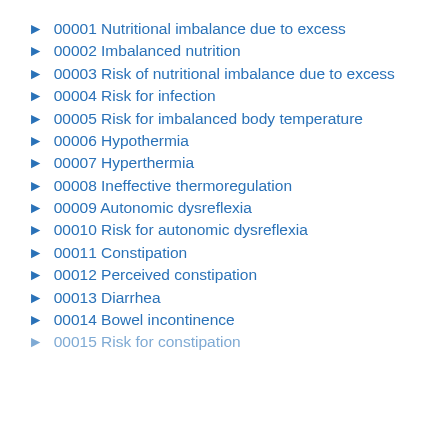► 00001 Nutritional imbalance due to excess
► 00002 Imbalanced nutrition
► 00003 Risk of nutritional imbalance due to excess
► 00004 Risk for infection
► 00005 Risk for imbalanced body temperature
► 00006 Hypothermia
► 00007 Hyperthermia
► 00008 Ineffective thermoregulation
► 00009 Autonomic dysreflexia
► 00010 Risk for autonomic dysreflexia
► 00011 Constipation
► 00012 Perceived constipation
► 00013 Diarrhea
► 00014 Bowel incontinence
► 00015 Risk for constipation